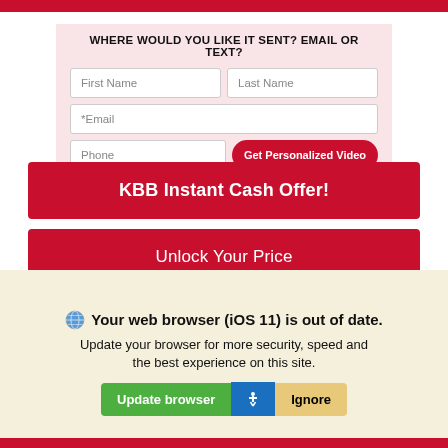WHERE WOULD YOU LIKE IT SENT? EMAIL OR TEXT?
[Figure (screenshot): Web form with fields: First Name, Last Name, Email, Phone, and a 'Get Personalized Video' button]
KBB Instant Cash Offer!
Unlock Your Price
Buy At Home
Your web browser (iOS 11) is out of date. Update your browser for more security, speed and the best experience on this site.
Update browser | Ignore